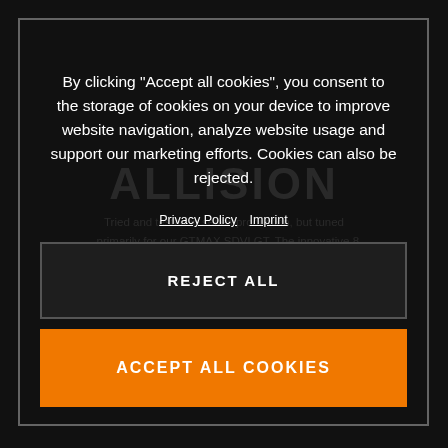[Figure (screenshot): Dark background webpage with faint gear/mechanical imagery and partially visible text about GTMAX gearbox from Audi]
By clicking “Accept all cookies”, you consent to the storage of cookies on your device to improve website navigation, analyze website usage and support our marketing efforts. Cookies can also be rejected.
Privacy Policy  Imprint
REJECT ALL
ACCEPT ALL COOKIES